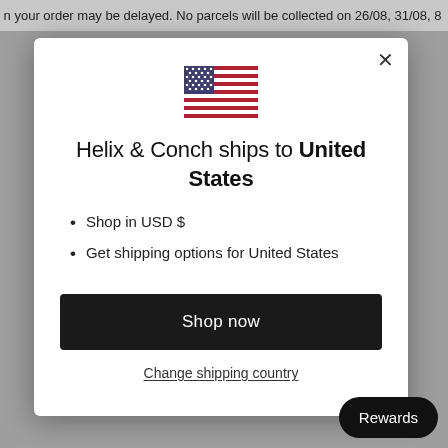n your order may be delayed. No parcels will be collected on 26/08, 31/08, 8
[Figure (illustration): US flag emoji / icon displayed at top center of modal dialog]
Helix & Conch ships to United States
Shop in USD $
Get shipping options for United States
Shop now
Change shipping country